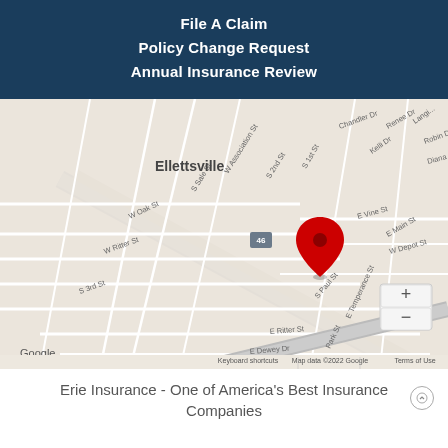File A Claim
Policy Change Request
Annual Insurance Review
[Figure (map): Google Maps view of Ellettsville, Indiana showing a red location pin marker at intersection near E Temperance St and S 1st St. Map shows street grid with labels including W Association St, S 2nd St, E Vine St, E Main St, W Depot St. Zoom controls (+/-) visible in lower right. Google logo and copyright info at bottom.]
Erie Insurance - One of America's Best Insurance Companies